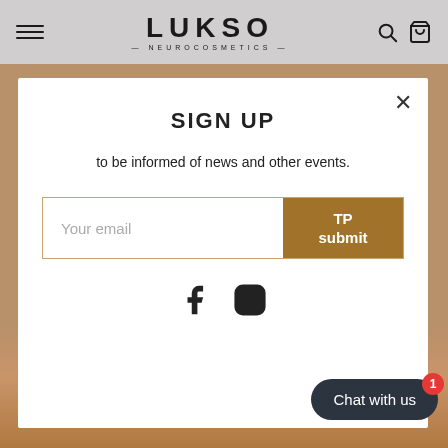LUKSO NEUROCOSMETICS
SIGN UP
to be informed of news and other events.
Your email
TP submit
[Figure (screenshot): Social media icons: Facebook and Instagram]
Chat with us